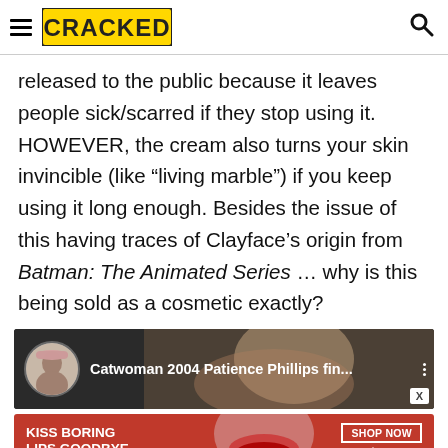CRACKED
released to the public because it leaves people sick/scarred if they stop using it. HOWEVER, the cream also turns your skin invincible (like “living marble”) if you keep using it long enough. Besides the issue of this having traces of Clayface’s origin from Batman: The Animated Series … why is this being sold as a cosmetic exactly?
[Figure (screenshot): YouTube video thumbnail showing 'Catwoman 2004 Patience Phillips fin...' with a circular profile image on the left and a face in the background. Three-dot menu visible on the right. A white 'X' close button at bottom right.]
[Figure (photo): Macy's advertisement banner with red background, text 'KISS BORING LIPS GOODBYE', a woman's face with red lips in the center, 'SHOP NOW' button and Macy's star logo on the right.]